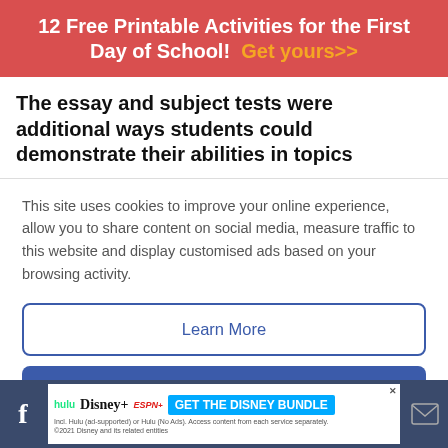12 Free Printable Activities for the First Day of School! Get yours>>
The essay and subject tests were additional ways students could demonstrate their abilities in topics
This site uses cookies to improve your online experience, allow you to share content on social media, measure traffic to this website and display customised ads based on your browsing activity.
Learn More
Accept
[Figure (screenshot): Close/dismiss circle button (X icon)]
[Figure (screenshot): Advertisement banner: hulu Disney+ ESPN+ GET THE DISNEY BUNDLE. Incl. Hulu (ad-supported) or Hulu (No Ads). Access content from each service separately. ©2021 Disney and its related entities]